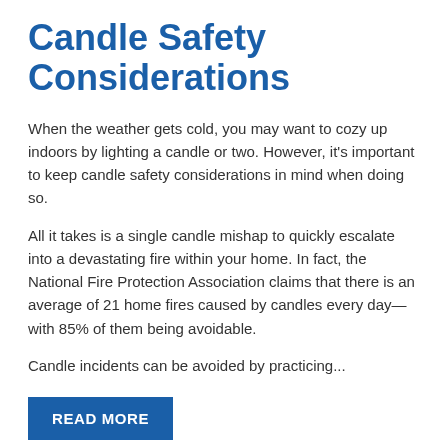Candle Safety Considerations
When the weather gets cold, you may want to cozy up indoors by lighting a candle or two. However, it's important to keep candle safety considerations in mind when doing so.
All it takes is a single candle mishap to quickly escalate into a devastating fire within your home. In fact, the National Fire Protection Association claims that there is an average of 21 home fires caused by candles every day—with 85% of them being avoidable.
Candle incidents can be avoided by practicing...
READ MORE
Insurance & Personal Finance